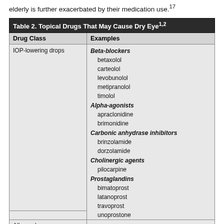elderly is further exacerbated by their medication use.17
| Drug Class | Examples |
| --- | --- |
| IOP-lowering drops | Beta-blockers: betaxolol, carteolol, levobunolol, metipranolol, timolol; Alpha-agonists: apraclonidine, brimonidine; Carbonic anhydrase inhibitors: brinzolamide, dorzolamide; Cholinergic agents: pilocarpine; Prostaglandins: bimatoprost, latanoprost, travoprost, unoprostone |
| Allergy drops | emedastine, olopatadine |
| Antiviral agents | acyclovir, idoxuridine, trifluridine |